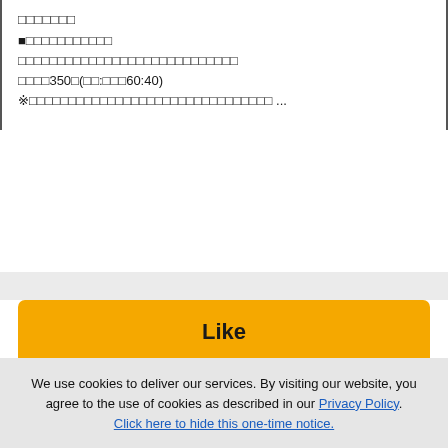□□□□□□□
■□□□□□□□□□□□
□□□□□□□□□□□□□□□□□□□□□□□□□□□□
□□□□350□(□□:□□□60:40)
※□□□□□□□□□□□□□□□□□□□□□□□□□□□□□□□ ...
[Figure (other): Like button - yellow/gold rounded button with bold text 'Like']
[Figure (other): View Full Listing button - dark navy blue rounded button with white bold text]
We use cookies to deliver our services. By visiting our website, you agree to the use of cookies as described in our Privacy Policy. Click here to hide this one-time notice.